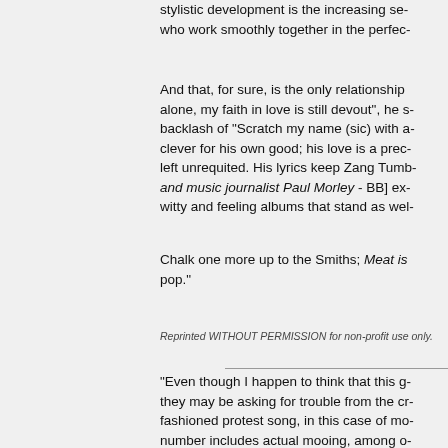stylistic development is the increasing se- who work smoothly together in the perfec-
And that, for sure, is the only relationship alone, my faith in love is still devout", he s- backlash of "Scratch my name (sic) with a- clever for his own good; his love is a prec- left unrequited. His lyrics keep Zang Tumb- and music journalist Paul Morley - BB] ex- witty and feeling albums that stand as wel-
Chalk one more up to the Smiths; Meat is pop."
Reprinted WITHOUT PERMISSION for non-profit use only.
"Even though I happen to think that this g- they may be asking for trouble from the cr- fashioned protest song, in this case of mo- number includes actual mooing, among o- who found these lads too 'hypersensitive'
I dunno, maybe the Smiths were just too c-